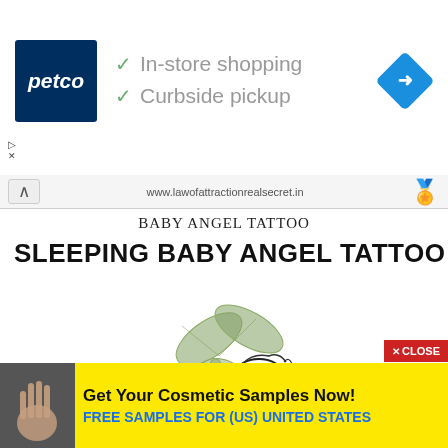[Figure (screenshot): Petco advertisement banner with logo, checkmarks for 'In-store shopping' and 'Curbside pickup', and a blue navigation diamond icon on the right]
[Figure (screenshot): Browser navigation bar showing URL: www.lawofattractionrealsecret.in with a star/trophy icon]
BABY ANGEL TATTOO
SLEEPING BABY ANGEL TATTOO
[Figure (illustration): Illustration of a sleeping baby angel with dragonfly wings resting on a leaf pillow, drawn in black and white line art style with realistic green dragonfly wings overlaid]
[Figure (screenshot): Red CLOSE button in bottom right corner]
[Figure (screenshot): Yellow advertisement banner at bottom: 'Get Your Cosmetic Samples Now!' with 'FREE SAMPLES FOR (US) UNITED STATES' in blue text, with a small hand image on the left]